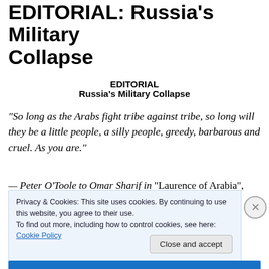EDITORIAL: Russia's Military Collapse
EDITORIAL
Russia's Military Collapse
“So long as the Arabs fight tribe against tribe, so long will they be a little people, a silly people, greedy, barbarous and cruel.  As you are.”
— Peter O’Toole to Omar Sharif in “Laurence of Arabia”,
Privacy & Cookies: This site uses cookies. By continuing to use this website, you agree to their use.
To find out more, including how to control cookies, see here: Cookie Policy